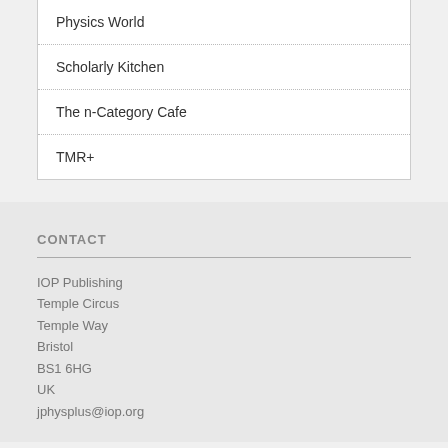Physics World
Scholarly Kitchen
The n-Category Cafe
TMR+
CONTACT
IOP Publishing
Temple Circus
Temple Way
Bristol
BS1 6HG
UK
jphysplus@iop.org